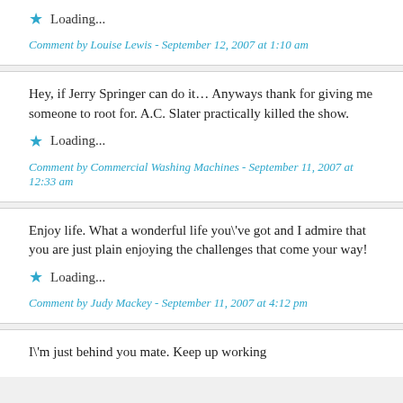Loading...
Comment by Louise Lewis - September 12, 2007 at 1:10 am
Hey, if Jerry Springer can do it… Anyways thank for giving me someone to root for. A.C. Slater practically killed the show.
Loading...
Comment by Commercial Washing Machines - September 11, 2007 at 12:33 am
Enjoy life. What a wonderful life you\'ve got and I admire that you are just plain enjoying the challenges that come your way!
Loading...
Comment by Judy Mackey - September 11, 2007 at 4:12 pm
I\'m just behind you mate. Keep up working